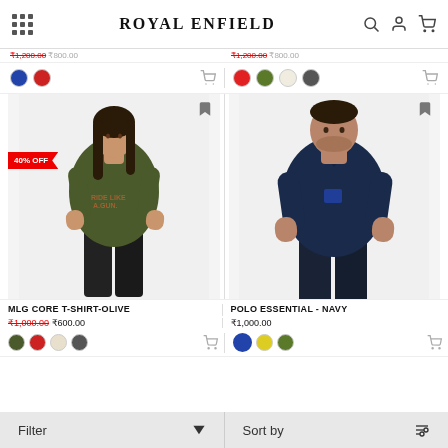Royal Enfield
[Figure (photo): Woman wearing olive green MLG Core T-Shirt with 40% OFF badge]
MLG CORE T-SHIRT-OLIVE
₹1,000.00 ₹600.00
[Figure (photo): Man wearing navy blue Polo Essential polo shirt]
POLO ESSENTIAL - NAVY
₹1,000.00
Filter    Sort by